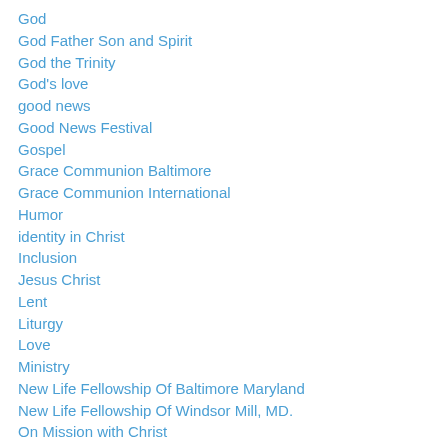God
God Father Son and Spirit
God the Trinity
God's love
good news
Good News Festival
Gospel
Grace Communion Baltimore
Grace Communion International
Humor
identity in Christ
Inclusion
Jesus Christ
Lent
Liturgy
Love
Ministry
New Life Fellowship Of Baltimore Maryland
New Life Fellowship Of Windsor Mill, MD.
On Mission with Christ